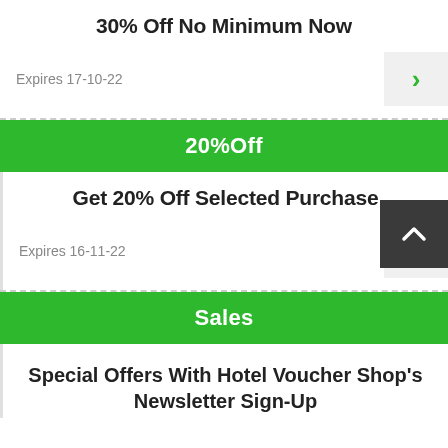30% Off No Minimum Now
Expires 17-10-22
20%Off
Get 20% Off Selected Purchase
Expires 16-11-22
Sales
Special Offers With Hotel Voucher Shop's Newsletter Sign-Up